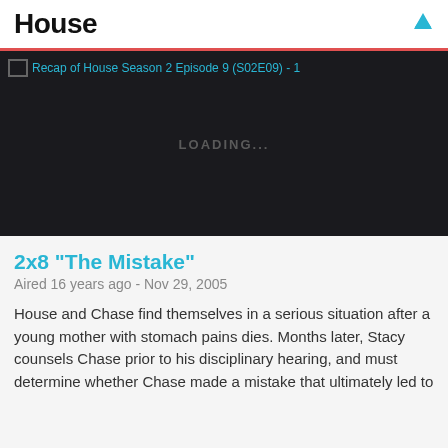House
[Figure (screenshot): Video player with dark background showing a loading state. Alt text reads: Recap of House Season 2 Episode 9 (S02E09) - 1. Center shows 'LOADING...' text in gray.]
2x8 "The Mistake"
Aired 16 years ago - Nov 29, 2005
House and Chase find themselves in a serious situation after a young mother with stomach pains dies. Months later, Stacy counsels Chase prior to his disciplinary hearing, and must determine whether Chase made a mistake that ultimately led to